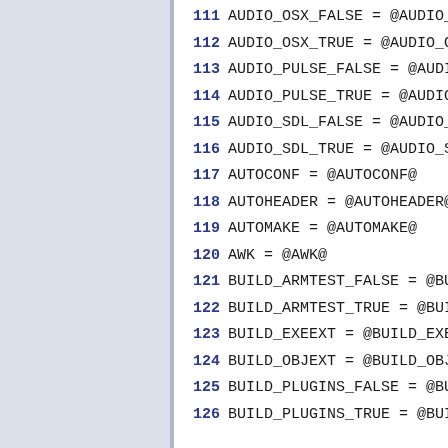111 AUDIO_OSX_FALSE = @AUDIO_OSX_
112 AUDIO_OSX_TRUE = @AUDIO_OSX_T
113 AUDIO_PULSE_FALSE = @AUDIO_PU
114 AUDIO_PULSE_TRUE = @AUDIO_PUL
115 AUDIO_SDL_FALSE = @AUDIO_SDL_
116 AUDIO_SDL_TRUE = @AUDIO_SDL_T
117 AUTOCONF = @AUTOCONF@
118 AUTOHEADER = @AUTOHEADER@
119 AUTOMAKE = @AUTOMAKE@
120 AWK = @AWK@
121 BUILD_ARMTEST_FALSE = @BUILD_
122 BUILD_ARMTEST_TRUE = @BUILD_A
123 BUILD_EXEEXT = @BUILD_EXEEXT@
124 BUILD_OBJEXT = @BUILD_OBJEXT@
125 BUILD_PLUGINS_FALSE = @BUILD_
126 BUILD_PLUGINS_TRUE = @BUILD_P